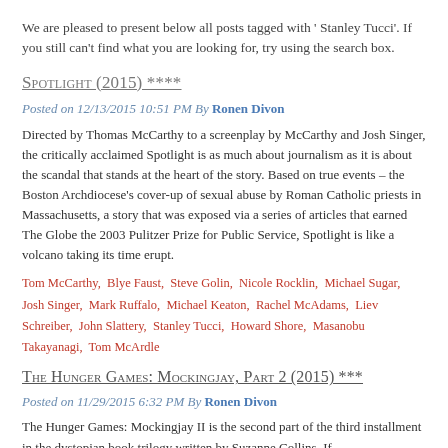We are pleased to present below all posts tagged with ' Stanley Tucci'. If you still can't find what you are looking for, try using the search box.
Spotlight (2015) ****
Posted on 12/13/2015 10:51 PM By Ronen Divon
Directed by Thomas McCarthy to a screenplay by McCarthy and Josh Singer, the critically acclaimed Spotlight is as much about journalism as it is about the scandal that stands at the heart of the story. Based on true events – the Boston Archdiocese's cover-up of sexual abuse by Roman Catholic priests in Massachusetts, a story that was exposed via a series of articles that earned The Globe the 2003 Pulitzer Prize for Public Service, Spotlight is like a volcano taking its time erupt.
Tom McCarthy, Blye Faust, Steve Golin, Nicole Rocklin, Michael Sugar, Josh Singer, Mark Ruffalo, Michael Keaton, Rachel McAdams, Liev Schreiber, John Slattery, Stanley Tucci, Howard Shore, Masanobu Takayanagi, Tom McArdle
The Hunger Games: Mockingjay, Part 2 (2015) ***
Posted on 11/29/2015 6:32 PM By Ronen Divon
The Hunger Games: Mockingjay II is the second part of the third installment in the dystopian book trilogy written by Suzanne Collins. If